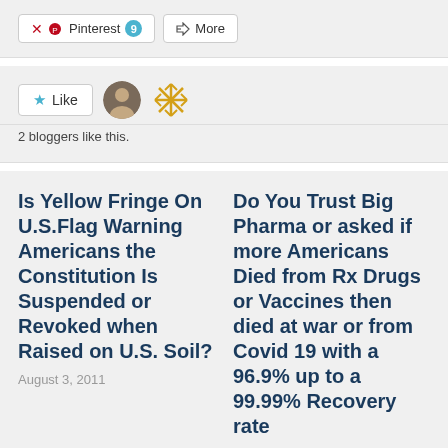[Figure (screenshot): Social share buttons: Pinterest with badge 9, and More button]
[Figure (screenshot): Like button with star icon, two blogger avatars (photo and snowflake icon)]
2 bloggers like this.
Is Yellow Fringe On U.S.Flag Warning Americans the Constitution Is Suspended or Revoked when Raised on U.S. Soil?
August 3, 2011
Do You Trust Big Pharma or asked if more Americans Died from Rx Drugs or Vaccines then died at war or from Covid 19 with a 96.9% up to a 99.99% Recovery rate